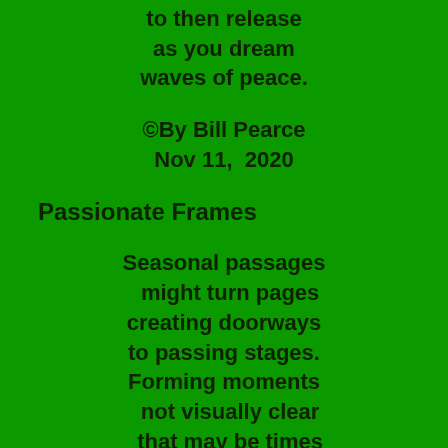to then release
as you dream
waves of peace.
©By Bill Pearce
Nov 11,  2020
Passionate Frames
Seasonal passages
might turn pages
creating doorways
to passing stages.
Forming moments
not visually clear
that may be times
of life's yesteryear.
As autumn dreams
that come to pass
passionate frames
are shadows cast.
Search within you